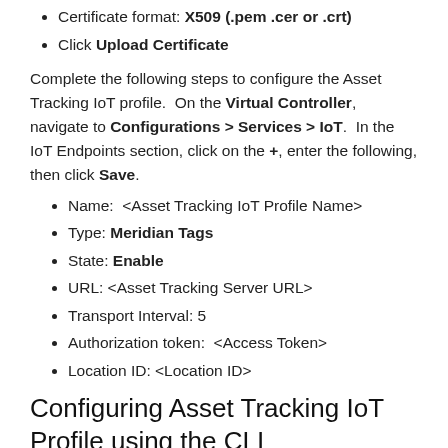Certificate format: X509 (.pem .cer or .crt)
Click Upload Certificate
Complete the following steps to configure the Asset Tracking IoT profile.  On the Virtual Controller, navigate to Configurations > Services > IoT.  In the IoT Endpoints section, click on the +, enter the following, then click Save.
Name:  <Asset Tracking IoT Profile Name>
Type: Meridian Tags
State: Enable
URL: <Asset Tracking Server URL>
Transport Interval: 5
Authorization token:  <Access Token>
Location ID: <Location ID>
Configuring Asset Tracking IoT Profile using the CLI